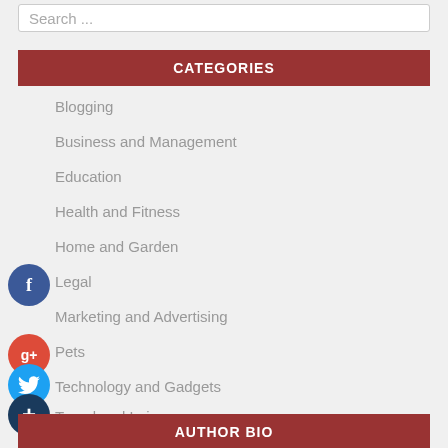Search ...
CATEGORIES
Blogging
Business and Management
Education
Health and Fitness
Home and Garden
Legal
Marketing and Advertising
Pets
Technology and Gadgets
Travel and Leisure
AUTHOR BIO